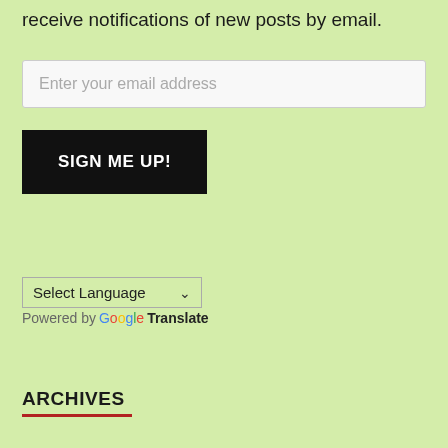receive notifications of new posts by email.
Enter your email address
SIGN ME UP!
Select Language
Powered by Google Translate
ARCHIVES